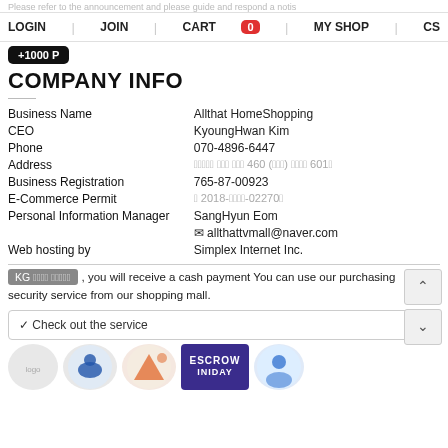Please refer to the announcement and please guide and respond a notis
LOGIN | JOIN | CART 0 | MY SHOP | CS
+1000 P
COMPANY INFO
| Field | Value |
| --- | --- |
| Business Name | Allthat HomeShopping |
| CEO | KyoungHwan Kim |
| Phone | 070-4896-6447 |
| Address | 경기도 고양시 덕양구 460 (화정동) 화정동 601호 |
| Business Registration | 765-87-00923 |
| E-Commerce Permit | 제 2018-고양덕양-02270호 |
| Personal Information Manager | SangHyun Eom |
|  | ✉ allthattvmall@naver.com |
| Web hosting by | Simplex Internet Inc. |
KG 이니시스 구매안전서비스, you will receive a cash payment You can use our purchasing security service from our shopping mall.
✓ Check out the service
[Figure (logo): Row of company logos including ESCROW INIDAY badge and circular logo icons]